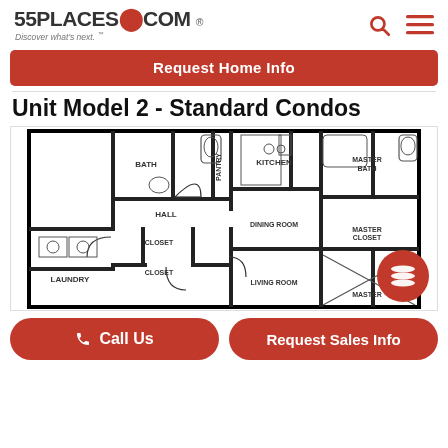55PLACES.COM - Discover what's next.
Request Home Info
Unit Model 2 - Standard Condos
[Figure (engineering-diagram): Floor plan diagram of Unit Model 2 - Standard Condos showing rooms: Laundry, Bath, Hall, Closet, Kitchen, Dining Room, Living Room, Master Bath, Master Closet, Master (bedroom), with architectural layout lines indicating walls, doors, and fixtures.]
Call Us
Request Sales Info